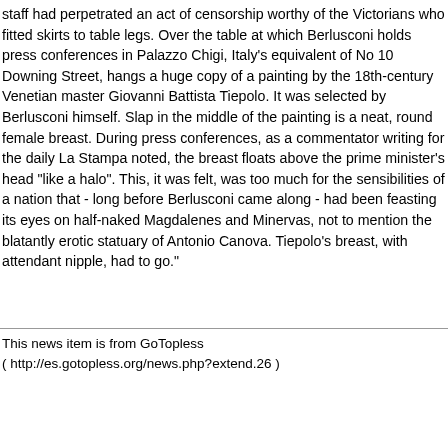staff had perpetrated an act of censorship worthy of the Victorians who fitted skirts to table legs. Over the table at which Berlusconi holds press conferences in Palazzo Chigi, Italy's equivalent of No 10 Downing Street, hangs a huge copy of a painting by the 18th-century Venetian master Giovanni Battista Tiepolo. It was selected by Berlusconi himself. Slap in the middle of the painting is a neat, round female breast. During press conferences, as a commentator writing for the daily La Stampa noted, the breast floats above the prime minister's head "like a halo". This, it was felt, was too much for the sensibilities of a nation that - long before Berlusconi came along - had been feasting its eyes on half-naked Magdalenes and Minervas, not to mention the blatantly erotic statuary of Antonio Canova. Tiepolo's breast, with attendant nipple, had to go."
This news item is from GoTopless
( http://es.gotopless.org/news.php?extend.26 )